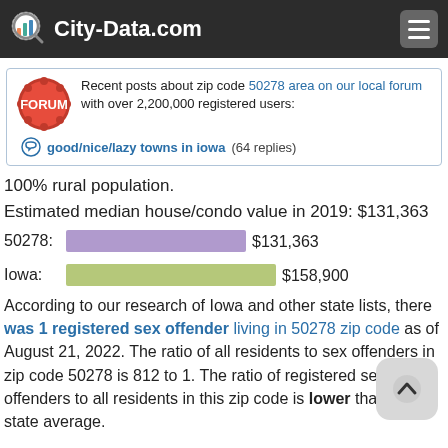City-Data.com
Recent posts about zip code 50278 area on our local forum with over 2,200,000 registered users:
good/nice/lazy towns in iowa (64 replies)
100% rural population.
Estimated median house/condo value in 2019: $131,363
[Figure (bar-chart): Median house/condo value]
According to our research of Iowa and other state lists, there was 1 registered sex offender living in 50278 zip code as of August 21, 2022. The ratio of all residents to sex offenders in zip code 50278 is 812 to 1. The ratio of registered sex offenders to all residents in this zip code is lower than the state average.